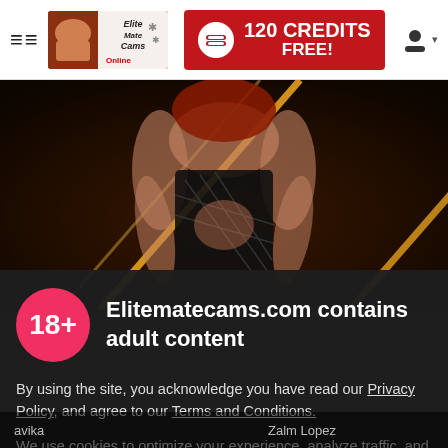≡≡ Elite Mate Cams Online | 120 CREDITS FREE!
[Figure (photo): Blurred background photo of a woman with red hair wearing a black lace outfit, posed in front of bright diagonal neon lights.]
Elitematecams.com contains adult content
By using the site, you acknowledge you have read our Privacy Policy, and agree to our Terms and Conditions.
We use cookies to optimize your experience, analyze traffic, and deliver more personalized service. To learn more, please see our Privacy Policy.
I AGREE